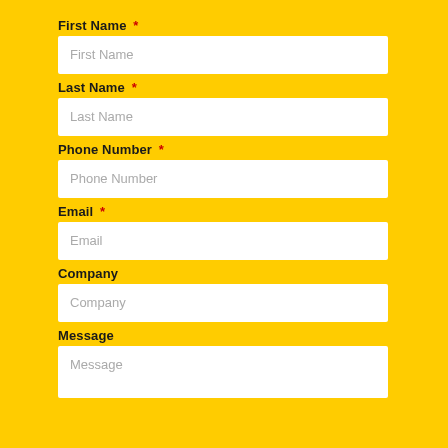First Name *
First Name
Last Name *
Last Name
Phone Number *
Phone Number
Email *
Email
Company
Company
Message
Message